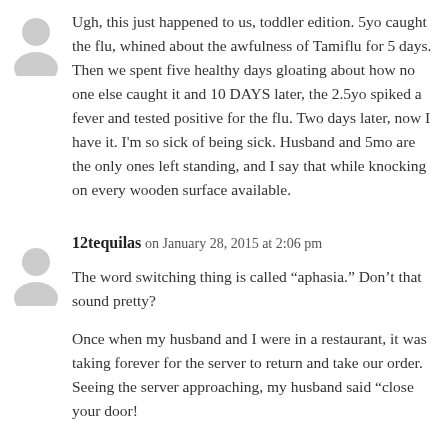Ugh, this just happened to us, toddler edition. 5yo caught the flu, whined about the awfulness of Tamiflu for 5 days. Then we spent five healthy days gloating about how no one else caught it and 10 DAYS later, the 2.5yo spiked a fever and tested positive for the flu. Two days later, now I have it. I'm so sick of being sick. Husband and 5mo are the only ones left standing, and I say that while knocking on every wooden surface available.
12tequilas on January 28, 2015 at 2:06 pm
The word switching thing is called “aphasia.” Don’t that sound pretty?
Once when my husband and I were in a restaurant, it was taking forever for the server to return and take our order. Seeing the server approaching, my husband said “close your door!